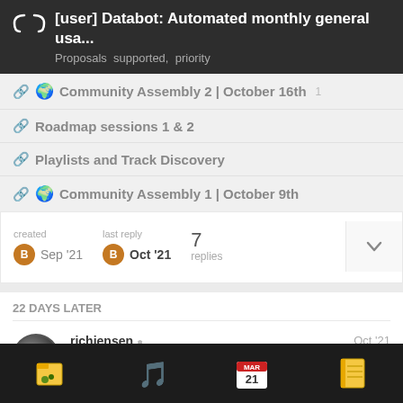[user] Databot: Automated monthly general usa... Proposals  supported,  priority
Community Assembly 2 | October 16th  1
Roadmap sessions 1 & 2
Playlists and Track Discovery
Community Assembly 1 | October 9th
created B Sep '21   last reply B Oct '21   7 replies
22 DAYS LATER
richjensen  chairperson   Oct '21
1 / 8
Navigation bar with icons: files, music player, calendar (MAR 21), notebook